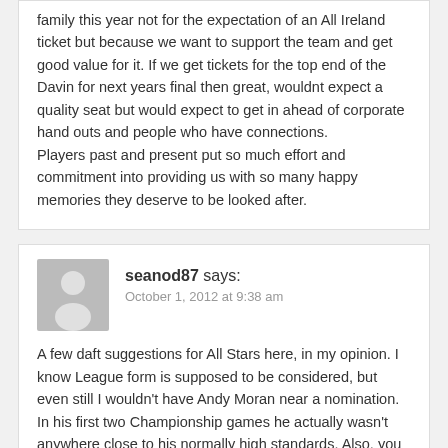family this year not for the expectation of an All Ireland ticket but because we want to support the team and get good value for it. If we get tickets for the top end of the Davin for next years final then great, wouldnt expect a quality seat but would expect to get in ahead of corporate hand outs and people who have connections.
Players past and present put so much effort and commitment into providing us with so many happy memories they deserve to be looked after.
seanod87 says:
October 1, 2012 at 9:38 am
A few daft suggestions for All Stars here, in my opinion. I know League form is supposed to be considered, but even still I wouldn't have Andy Moran near a nomination. In his first two Championship games he actually wasn't anywhere close to his normally high standards. Also, you may well be right WJ with your predictions but I would have Barry Moran in ahead of Ger Caff. Ger had a very solid year but Barry is more...